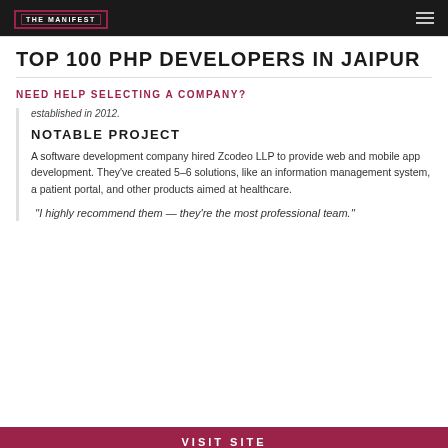THE MANIFEST
TOP 100 PHP DEVELOPERS IN JAIPUR
NEED HELP SELECTING A COMPANY?
established in 2012.
NOTABLE PROJECT
A software development company hired Zcodeo LLP to provide web and mobile app development. They've created 5–6 solutions, like an information management system, a patient portal, and other products aimed at healthcare.
''I highly recommend them — they're the most professional team.''
VISIT SITE